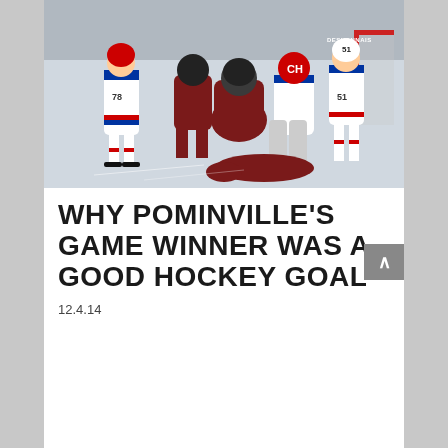[Figure (photo): Hockey game action photo showing Montreal Canadiens players in white jerseys (including #78 and #51 DESHANNAS) battling around the goal crease against players in dark red/green jerseys. A goalie is down on the ice near the red goalposts.]
WHY POMINVILLE'S GAME WINNER WAS A GOOD HOCKEY GOAL
12.4.14